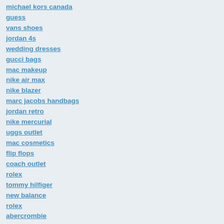michael kors canada
guess
vans shoes
jordan 4s
wedding dresses
gucci bags
mac makeup
nike air max
nike blazer
marc jacobs handbags
jordan retro
nike mercurial
uggs outlet
mac cosmetics
flip flops
coach outlet
rolex
tommy hilfiger
new balance
rolex
abercrombie
clarks shoes
jordan 2
nike mercurial